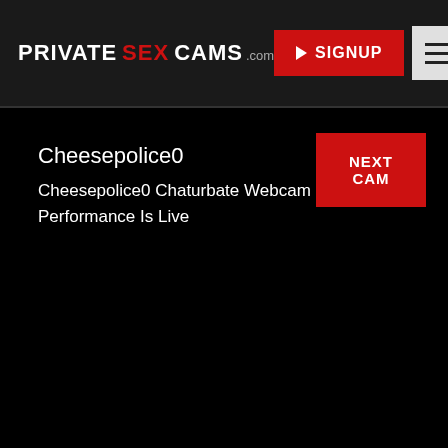PRIVATE SEX CAMS.com — SIGNUP — Menu
Cheesepolice0
Cheesepolice0 Chaturbate Webcam Performance Is Live